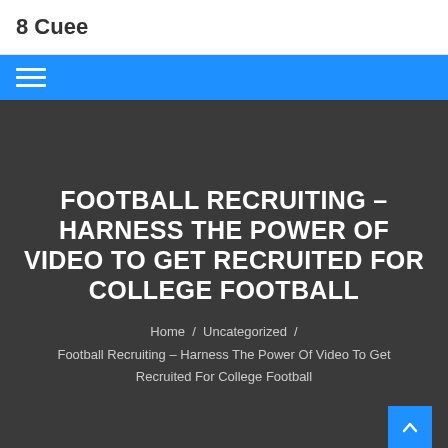8 Cuee
FOOTBALL RECRUITING – HARNESS THE POWER OF VIDEO TO GET RECRUITED FOR COLLEGE FOOTBALL
Home / Uncategorized / Football Recruiting – Harness The Power Of Video To Get Recruited For College Football